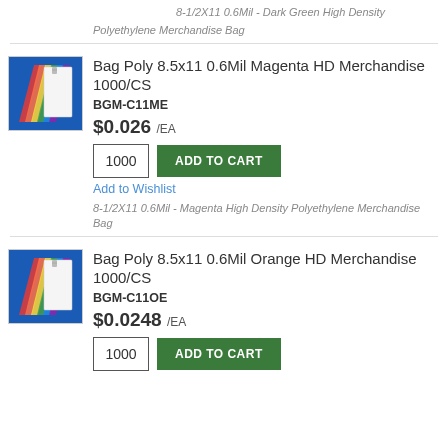8-1/2X11 0.6Mil - Dark Green High Density Polyethylene Merchandise Bag
[Figure (photo): Colorful poly merchandise bags fanned out on blue background]
Bag Poly 8.5x11 0.6Mil Magenta HD Merchandise 1000/CS
BGM-C11ME
$0.026 /EA
1000
ADD TO CART
Add to Wishlist
8-1/2X11 0.6Mil - Magenta High Density Polyethylene Merchandise Bag
[Figure (photo): Colorful poly merchandise bags fanned out on blue background]
Bag Poly 8.5x11 0.6Mil Orange HD Merchandise 1000/CS
BGM-C11OE
$0.0248 /EA
1000
ADD TO CART